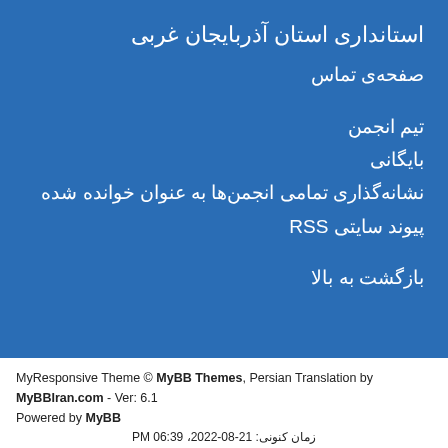استانداری استان آذربایجان غربی
صفحه‌ی تماس
تیم انجمن
بایگانی
نشانه‌گذاری تمامی انجمن‌ها به عنوان خوانده شده
پیوند سایتی RSS
بازگشت به بالا
MyResponsive Theme © MyBB Themes, Persian Translation by MyBBIran.com - Ver: 6.1
Powered by MyBB
زمان کنونی: 21-08-2022، PM 06:39